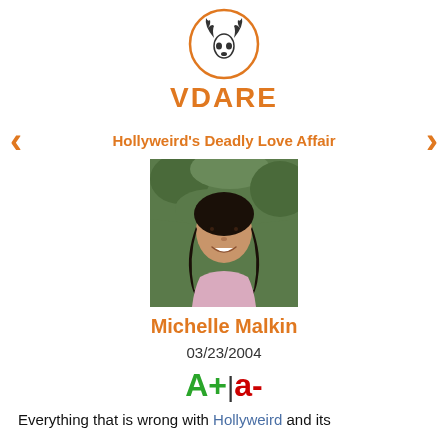[Figure (logo): VDARE logo: deer skull in an orange circle above the text VDARE in bold orange letters]
Hollyweird's Deadly Love Affair
[Figure (photo): Headshot photo of Michelle Malkin, an Asian-American woman with long dark hair, smiling, outdoors with green foliage background]
Michelle Malkin
03/23/2004
A+|a-
Everything that is wrong with Hollyweird and its